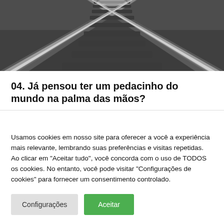[Figure (photo): Black and white photograph of railway tracks receding into the distance, viewed from center perspective]
04. Já pensou ter um pedacinho do mundo na palma das mãos?
Usamos cookies em nosso site para oferecer a você a experiência mais relevante, lembrando suas preferências e visitas repetidas. Ao clicar em "Aceitar tudo", você concorda com o uso de TODOS os cookies. No entanto, você pode visitar "Configurações de cookies" para fornecer um consentimento controlado.
Configurações | Aceitar